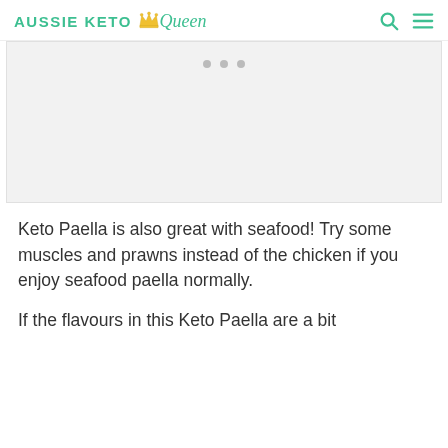AUSSIE KETO Queen
[Figure (photo): Image placeholder with three grey dots, indicating a loading or carousel image area for a Keto Paella recipe photo]
Keto Paella is also great with seafood! Try some muscles and prawns instead of the chicken if you enjoy seafood paella normally.
If the flavours in this Keto Paella are a bit